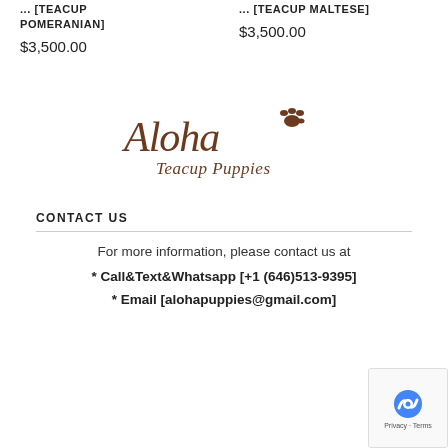... [TEACUP POMERANIAN]
$3,500.00
... [TEACUP MALTESE]
$3,500.00
[Figure (logo): Aloha Teacup Puppies logo in brown cursive script with a paw print icon]
CONTACT US
For more information, please contact us at
* Call&Text&Whatsapp [+1 (646)513-9395]
* Email [alohapuppies@gmail.com]